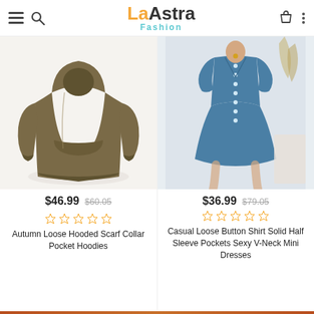La Astra Fashion — navigation header with hamburger, search, logo, bag, and dots icons
[Figure (photo): Brown olive hooded sweatshirt / hoodie product photo on white background]
$46.99  $60.05
☆☆☆☆☆
Autumn Loose Hooded Scarf Collar Pocket Hoodies
[Figure (photo): Teal blue mini dress with buttons and half sleeves worn by model, product photo]
$36.99  $79.05
☆☆☆☆☆
Casual Loose Button Shirt Solid Half Sleeve Pockets Sexy V-Neck Mini Dresses
Orange footer bar